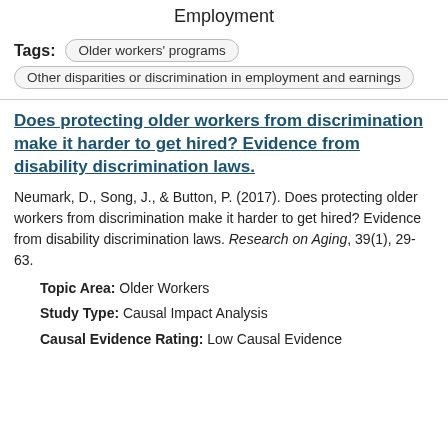Employment
Tags: Older workers' programs
Other disparities or discrimination in employment and earnings
Does protecting older workers from discrimination make it harder to get hired? Evidence from disability discrimination laws.
Neumark, D., Song, J., & Button, P. (2017). Does protecting older workers from discrimination make it harder to get hired? Evidence from disability discrimination laws. Research on Aging, 39(1), 29-63.
Topic Area: Older Workers
Study Type: Causal Impact Analysis
Causal Evidence Rating: Low Causal Evidence